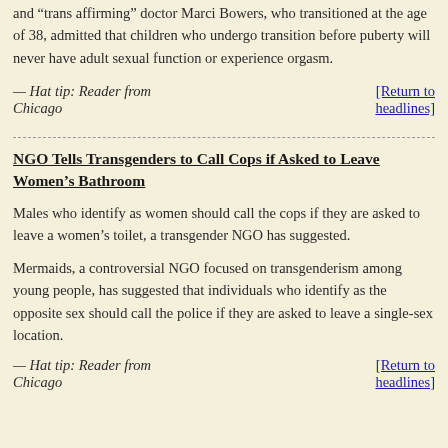and “trans affirming” doctor Marci Bowers, who transitioned at the age of 38, admitted that children who undergo transition before puberty will never have adult sexual function or experience orgasm.
— Hat tip: Reader from Chicago    [Return to headlines]
NGO Tells Transgenders to Call Cops if Asked to Leave Women’s Bathroom
Males who identify as women should call the cops if they are asked to leave a women’s toilet, a transgender NGO has suggested.
Mermaids, a controversial NGO focused on transgenderism among young people, has suggested that individuals who identify as the opposite sex should call the police if they are asked to leave a single-sex location.
— Hat tip: Reader from Chicago    [Return to headlines]